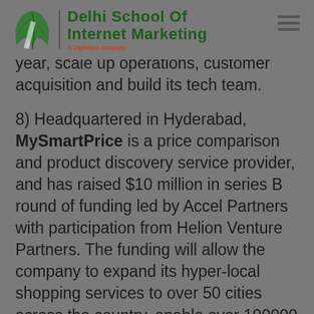Delhi School Of Internet Marketing | A DigiMaya company
year, scale up operations, customer acquisition and build its tech team.
8) Headquartered in Hyderabad, MySmartPrice is a price comparison and product discovery service provider, and has raised $10 million in series B round of funding led by Accel Partners with participation from Helion Venture Partners. The funding will allow the company to expand its hyper-local shopping services to over 50 cities across the country, enable over 100000 local